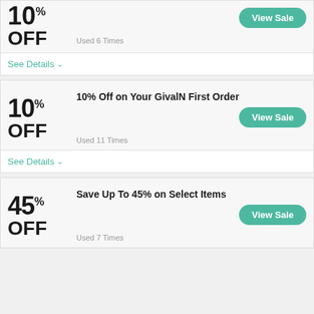10% OFF
Used 6 Times
View Sale
See Details
10% OFF
10% Off on Your GivalN First Order
View Sale
Used 11 Times
See Details
45% OFF
Save Up To 45% on Select Items
View Sale
Used 7 Times